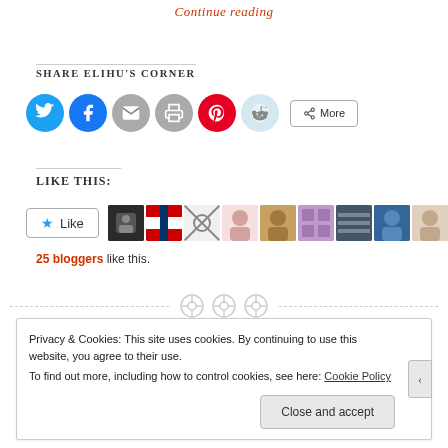Continue reading
Share Elihu's Corner
[Figure (infographic): Social sharing buttons: Twitter (blue circle), Facebook (blue circle), Email (gray circle), Print (gray circle), Pinterest (red circle), Reddit (light blue circle), and a More button]
Like This:
[Figure (infographic): WordPress Like widget showing a Like button with star icon and 10 user avatar thumbnails]
25 bloggers like this.
[Figure (infographic): Three dot divider icons in light gray]
Privacy & Cookies: This site uses cookies. By continuing to use this website, you agree to their use.
To find out more, including how to control cookies, see here: Cookie Policy
Close and accept